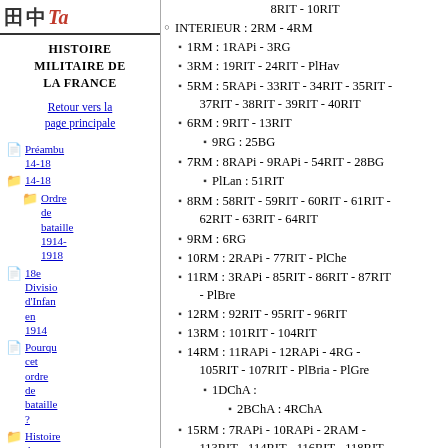Histoire militaire de la France
8RIT - 10RIT
INTERIEUR : 2RM - 4RM
1RM : 1RAPi - 3RG
3RM : 19RIT - 24RIT - PlHav
5RM : 5RAPi - 33RIT - 34RIT - 35RIT - 37RIT - 38RIT - 39RIT - 40RIT
6RM : 9RIT - 13RIT
9RG : 25BG
7RM : 8RAPi - 9RAPi - 54RIT - 28BG
PlLan : 51RIT
8RM : 58RIT - 59RIT - 60RIT - 61RIT - 62RIT - 63RIT - 64RIT
9RM : 6RG
10RM : 2RAPi - 77RIT - PlChe
11RM : 3RAPi - 85RIT - 86RIT - 87RIT - PlBre
12RM : 92RIT - 95RIT - 96RIT
13RM : 101RIT - 104RIT
14RM : 11RAPi - 12RAPi - 4RG - 105RIT - 107RIT - PlBria - PlGre
1DChA :
2BChA : 4RChA
15RM : 7RAPi - 10RAPi - 2RAM - 113RIT - 114RIT - 116RIT - 118RIT - 119RIT - 145RIT - PlNice - PlToulon
7RG : 23BG - 24BG
57RTS : 66BTS - 67BTS - 70BTS
16RM : 2RG - 121RIT - 123RIT